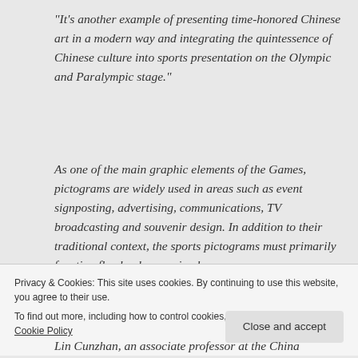“It’s another example of presenting time-honored Chinese art in a modern way and integrating the quintessence of Chinese culture into sports presentation on the Olympic and Paralympic stage.”
As one of the main graphic elements of the Games, pictograms are widely used in areas such as event signposting, advertising, communications, TV broadcasting and souvenir design. In addition to their traditional context, the sports pictograms must primarily function flawlessly as a simple,
Privacy & Cookies: This site uses cookies. By continuing to use this website, you agree to their use.
To find out more, including how to control cookies, see here: Privacy & Cookie Policy
Lin Cunzhan, an associate professor at the China...